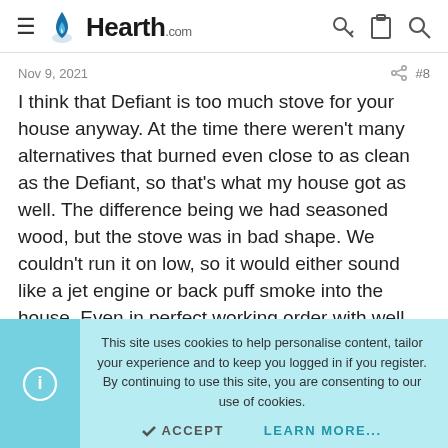Hearth.com
Nov 9, 2021    #8
I think that Defiant is too much stove for your house anyway. At the time there weren't many alternatives that burned even close to as clean as the Defiant, so that's what my house got as well. The difference being we had seasoned wood, but the stove was in bad shape. We couldn't run it on low, so it would either sound like a jet engine or back puff smoke into the house. Even in perfect working order with well seasoned
This site uses cookies to help personalise content, tailor your experience and to keep you logged in if you register.
By continuing to use this site, you are consenting to our use of cookies.
ACCEPT    LEARN MORE...